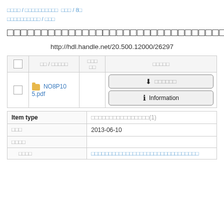□□□□ / □□□□□□□□□□ □□□ / 8□ □□□□□□□□□□ / □□□
□□□□□□□□□□□□□□□□□□□□□□□□□□□□□□□□□□□□□□□□□
http://hdl.handle.net/20.500.12000/26297
|  | □□ / □□□□□ | □□□ □□ | □□□□□ |
| --- | --- | --- | --- |
| □ | □ NO8P105.pdf |  | □□□□□□ / Information |
| Item type | □□□□□□□□□□□□□□□□(1) |
| --- | --- |
| □□□ | 2013-06-10 |
| □□□□ |  |
| □□□□ | □□□□□□□□□□□□□□□□□□□□□□□□□□□□□ |